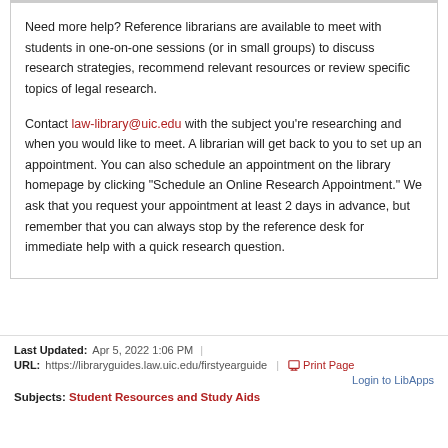Need more help? Reference librarians are available to meet with students in one-on-one sessions (or in small groups) to discuss research strategies, recommend relevant resources or review specific topics of legal research.
Contact law-library@uic.edu with the subject you're researching and when you would like to meet. A librarian will get back to you to set up an appointment. You can also schedule an appointment on the library homepage by clicking "Schedule an Online Research Appointment." We ask that you request your appointment at least 2 days in advance, but remember that you can always stop by the reference desk for immediate help with a quick research question.
Last Updated: Apr 5, 2022 1:06 PM | URL: https://libraryguides.law.uic.edu/firstyearguide | Print Page | Login to LibApps | Subjects: Student Resources and Study Aids